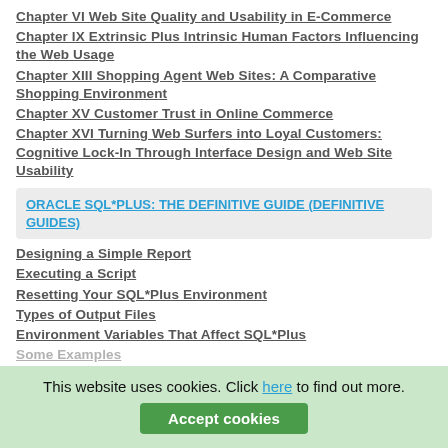Chapter VI Web Site Quality and Usability in E-Commerce
Chapter IX Extrinsic Plus Intrinsic Human Factors Influencing the Web Usage
Chapter XIII Shopping Agent Web Sites: A Comparative Shopping Environment
Chapter XV Customer Trust in Online Commerce
Chapter XVI Turning Web Surfers into Loyal Customers: Cognitive Lock-In Through Interface Design and Web Site Usability
ORACLE SQL*PLUS: THE DEFINITIVE GUIDE (DEFINITIVE GUIDES)
Designing a Simple Report
Executing a Script
Resetting Your SQL*Plus Environment
Types of Output Files
Environment Variables That Affect SQL*Plus
Some Examples